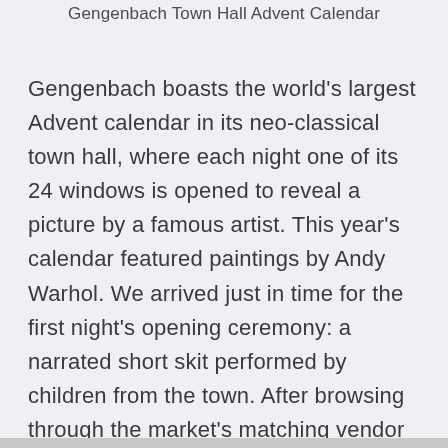Gengenbach Town Hall Advent Calendar
Gengenbach boasts the world's largest Advent calendar in its neo-classical town hall, where each night one of its 24 windows is opened to reveal a picture by a famous artist. This year's calendar featured paintings by Andy Warhol. We arrived just in time for the first night's opening ceremony: a narrated short skit performed by children from the town. After browsing through the market's matching vendor huts, with hot Glühwein in a mug depicting the town hall Advent calendar, we returned to the ship to be delightfully entertained by a French cabaret singer and her accordion accompanist.